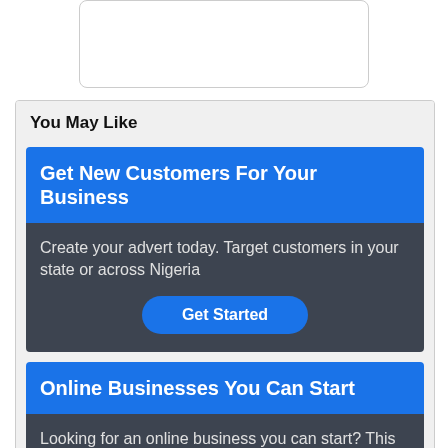[Figure (other): White card/box element at top center of page]
You May Like
[Figure (infographic): Ad card 1: Get New Customers For Your Business. Blue header, dark body with text 'Create your advert today. Target customers in your state or across Nigeria', and a blue 'Get Started' button.]
[Figure (infographic): Ad card 2: Online Businesses You Can Start. Blue header, dark body with text 'Looking for an online business you can start? This list will help you', and a blue 'Learn More' button.]